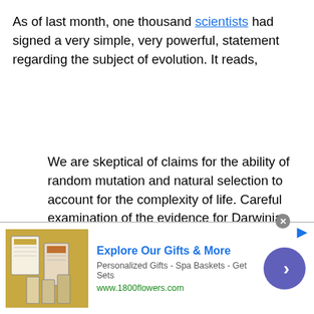As of last month, one thousand scientists had signed a very simple, very powerful, statement regarding the subject of evolution. It reads,
We are skeptical of claims for the ability of random mutation and natural selection to account for the complexity of life. Careful examination of the evidence for Darwinian theory should be encouraged.
Notice that it does not advocate any other belief or theory, it simply states that the subject should be critically examined. The “petition” is restricted to scientists, that is, persons who
[Figure (other): Advertisement banner for 1800flowers.com: Explore Our Gifts & More - Personalized Gifts - Spa Baskets - Get Sets]